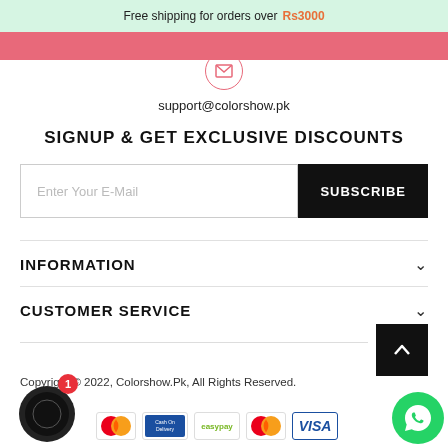Free shipping for orders over Rs3000
[Figure (illustration): Email envelope icon inside a pink circle outline]
support@colorshow.pk
SIGNUP & GET EXCLUSIVE DISCOUNTS
[Figure (other): Email subscription form with input field 'Enter Your E-Mail' and black SUBSCRIBE button]
INFORMATION
CUSTOMER SERVICE
Copyright © 2022, Colorshow.Pk, All Rights Reserved.
[Figure (other): Payment method logos: Mastercard, Cash on Delivery, EasyPay, Mastercard, Visa]